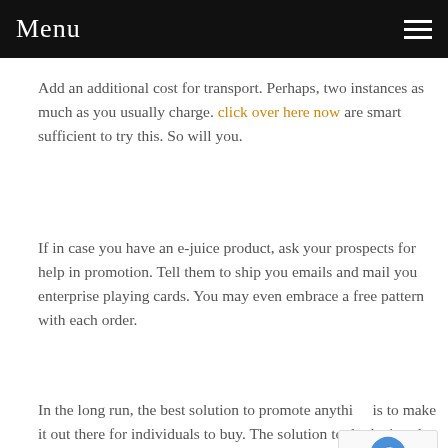Menu
Add an additional cost for transport. Perhaps, two instances as much as you usually charge. click over here now are smart sufficient to try this. So will you.
If in case you have an e-juice product, ask your prospects for help in promotion. Tell them to ship you emails and mail you enterprise playing cards. You may even embrace a free pattern with each order.
In the long run, the best solution to promote anything is to make it out there for individuals to buy. The solution to do that's to be knowledgeable about your product and be taught the steps to maintain your